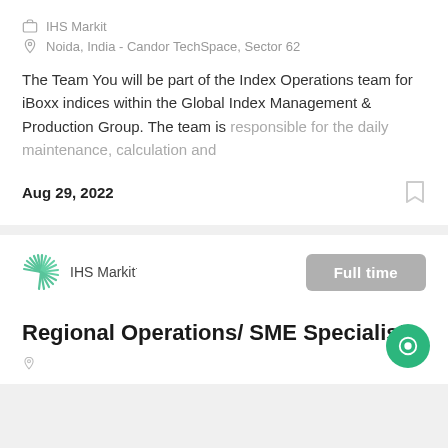IHS Markit
Noida, India - Candor TechSpace, Sector 62
The Team You will be part of the Index Operations team for iBoxx indices within the Global Index Management & Production Group. The team is responsible for the daily maintenance, calculation and
Aug 29, 2022
[Figure (logo): IHS Markit green radial logo]
IHS Markit
Full time
Regional Operations/ SME Specialist